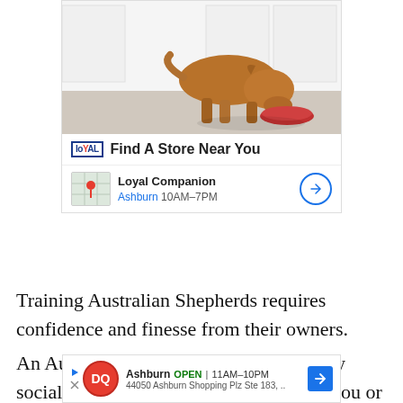[Figure (photo): Advertisement box with a brown dog eating from a red bowl on a kitchen floor. Below the photo: Loyal Companion logo with 'Find A Store Near You' text, and a location entry showing 'Loyal Companion Ashburn 10AM-7PM' with a map thumbnail and navigation arrow.]
Training Australian Shepherds requires confidence and finesse from their owners.
An Aussie may develop unacceptable shy social behaviors or may try to outsmart you or push you
[Figure (infographic): Dairy Queen ad showing DQ logo, 'Ashburn OPEN | 11AM-10PM' and '44050 Ashburn Shopping Plz Ste 183, ..' with a blue navigation arrow.]